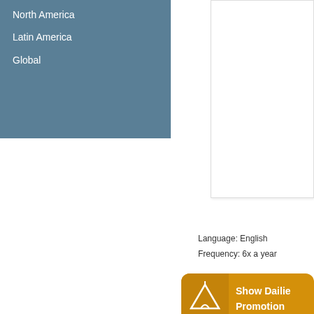North America
Latin America
Global
Language: English
Frequency: 6x a year
[Figure (logo): Show Dailies Promotion banner with tent icon in orange/gold color]